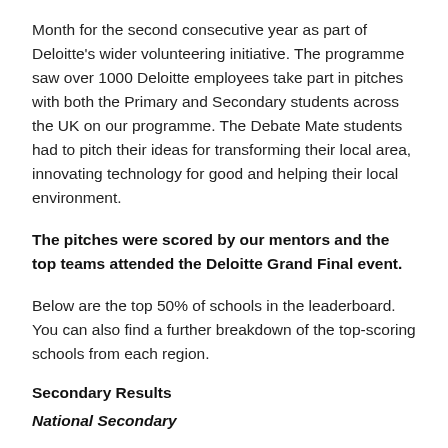Month for the second consecutive year as part of Deloitte's wider volunteering initiative. The programme saw over 1000 Deloitte employees take part in pitches with both the Primary and Secondary students across the UK on our programme. The Debate Mate students had to pitch their ideas for transforming their local area, innovating technology for good and helping their local environment.
The pitches were scored by our mentors and the top teams attended the Deloitte Grand Final event.
Below are the top 50% of schools in the leaderboard. You can also find a further breakdown of the top-scoring schools from each region.
Secondary Results
National Secondary